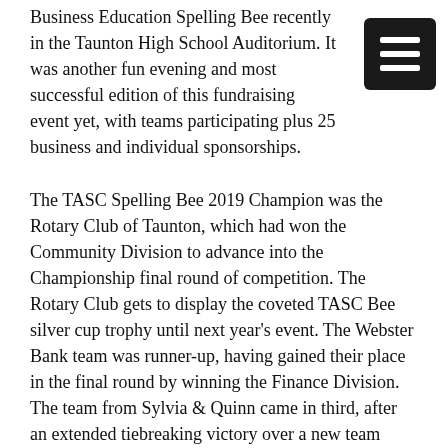Business Education Spelling Bee recently in the Taunton High School Auditorium. It was another fun evening and most successful edition of this fundraising event yet, with teams participating plus 25 business and individual sponsorships.
The TASC Spelling Bee 2019 Champion was the Rotary Club of Taunton, which had won the Community Division to advance into the Championship final round of competition. The Rotary Club gets to display the coveted TASC Bee silver cup trophy until next year's event. The Webster Bank team was runner-up, having gained their place in the final round by winning the Finance Division. The team from Sylvia & Quinn came in third, after an extended tiebreaking victory over a new team from LAER Realty Partners that made for a compelling finish in the Business Division.
Teams of three adults from the registering business or group, plus two high school students, a senior and a junior, comprised the teams. Seniors were seeking to win one of